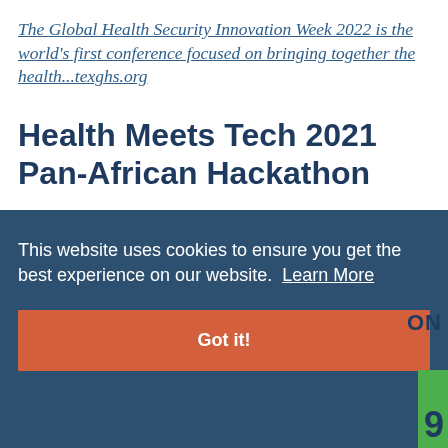The Global Health Security Innovation Week 2022 is the world's first conference focused on bringing together the health...texghs.org
Health Meets Tech 2021 Pan-African Hackathon
This website uses cookies to ensure you get the best experience on our website.  Learn More
Got it!